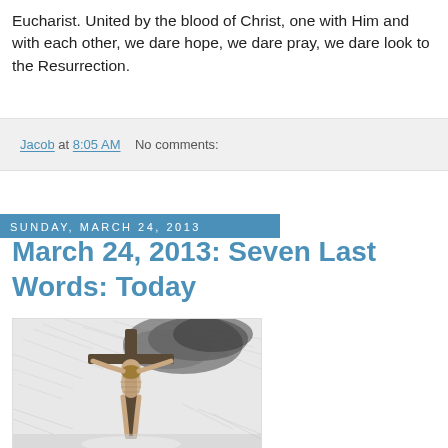Eucharist. United by the blood of Christ, one with Him and with each other, we dare hope, we dare pray, we dare look to the Resurrection.
Jacob at 8:05 AM    No comments:
Sunday, March 24, 2013
March 24, 2013: Seven Last Words: Today
[Figure (illustration): Pencil sketch illustration of a figure on a cross with dramatic wind-swept background, in black and white style]